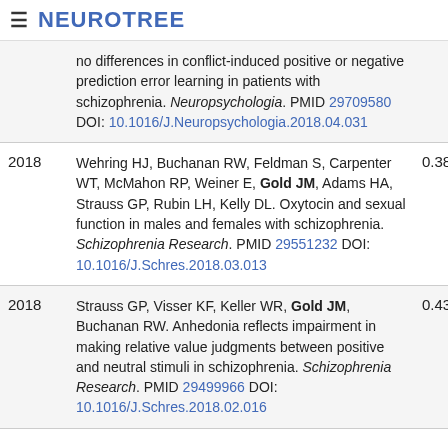NEUROTREE
| Year | Reference | Score |
| --- | --- | --- |
|  | no differences in conflict-induced positive or negative prediction error learning in patients with schizophrenia. Neuropsychologia. PMID 29709580 DOI: 10.1016/J.Neuropsychologia.2018.04.031 |  |
| 2018 | Wehring HJ, Buchanan RW, Feldman S, Carpenter WT, McMahon RP, Weiner E, Gold JM, Adams HA, Strauss GP, Rubin LH, Kelly DL. Oxytocin and sexual function in males and females with schizophrenia. Schizophrenia Research. PMID 29551232 DOI: 10.1016/J.Schres.2018.03.013 | 0.389 |
| 2018 | Strauss GP, Visser KF, Keller WR, Gold JM, Buchanan RW. Anhedonia reflects impairment in making relative value judgments between positive and neutral stimuli in schizophrenia. Schizophrenia Research. PMID 29499966 DOI: 10.1016/J.Schres.2018.02.016 | 0.432 |